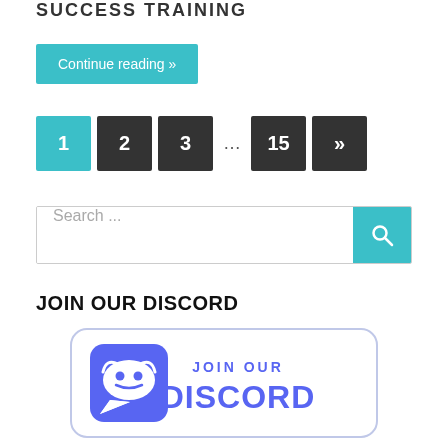SUCCESS TRAINING
Continue reading »
1 2 3 … 15 »»
Search ...
JOIN OUR DISCORD
[Figure (logo): Discord banner button with controller icon, 'JOIN OUR' text above 'DISCORD' in purple on white rounded rectangle background]